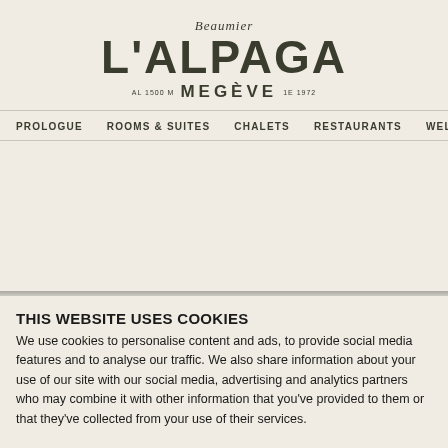Beaumier L'ALPAGA MEGÈVE
PROLOGUE  ROOMS & SUITES  CHALETS  RESTAURANTS  WELLNESS  EXPERIE...
THIS WEBSITE USES COOKIES
We use cookies to personalise content and ads, to provide social media features and to analyse our traffic. We also share information about your use of our site with our social media, advertising and analytics partners who may combine it with other information that you've provided to them or that they've collected from your use of their services.